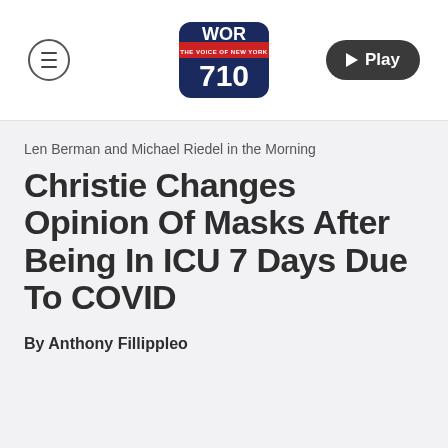[Figure (logo): WOR 710 The Voice of New York radio station logo — dark navy/blue rounded square with red banner and white text]
Len Berman and Michael Riedel in the Morning
Christie Changes Opinion Of Masks After Being In ICU 7 Days Due To COVID
By Anthony Fillippleo